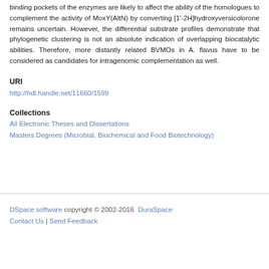binding pockets of the enzymes are likely to affect the ability of the homologues to complement the activity of MoxY(AltN) by converting [1'-2H]hydroxyversicolorone remains uncertain. However, the differential substrate profiles demonstrate that phylogenetic clustering is not an absolute indication of overlapping biocatalytic abilities. Therefore, more distantly related BVMOs in A. flavus have to be considered as candidates for intragenomic complementation as well.
URI
http://hdl.handle.net/11660/1599
Collections
All Electronic Theses and Dissertations
Masters Degrees (Microbial, Biochemical and Food Biotechnology)
DSpace software copyright © 2002-2016  DuraSpace
Contact Us | Send Feedback